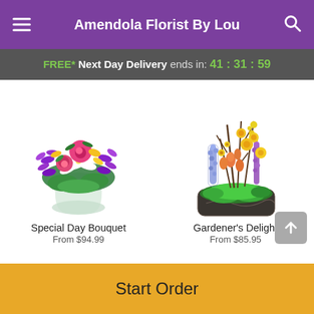Amendola Florist By Lou
FREE* Next Day Delivery ends in: 41 : 31 : 59
[Figure (photo): Special Day Bouquet flower arrangement with pink roses, white lilies, and purple orchids in a glass vase]
Special Day Bouquet
From $94.99
[Figure (photo): Gardener's Delight flower arrangement with yellow daffodils, purple hyacinths, orange tulips, and green foliage in a dark decorative pot]
Gardener's Delight
From $85.95
Start Order